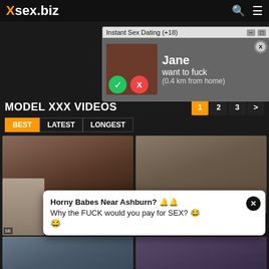xsex.biz
[Figure (screenshot): Ad popup: Instant Sex Dating (+18) with image and Jane want to fuck (0.4 km from home) text, accept/decline buttons]
MODEL XXX VIDEOS
1 2 3 > (pagination)
BEST | LATEST | LONGEST filter tabs
[Figure (photo): Two video thumbnails side by side]
[Figure (screenshot): Bottom notification popup: Horny Babes Near Ashburn? Why the FUCK would you pay for SEX?]
[Figure (photo): Two more video thumbnails at bottom]